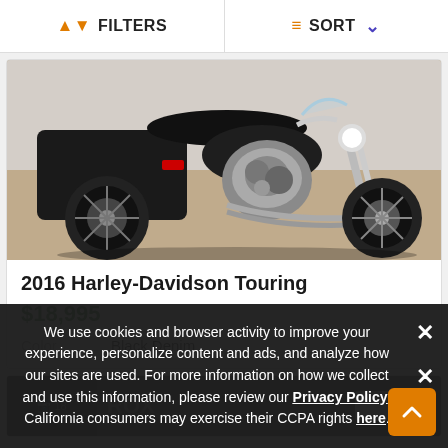FILTERS  SORT
[Figure (photo): Photo of a 2016 Harley-Davidson Touring motorcycle, black/dark grey color, parked indoors on a concrete floor. Side profile view showing chrome engine, black saddlebags, and large front wheel.]
2016 Harley-Davidson Touring
$18,995
Color  Black Denim
[Figure (photo): Partial view of a second motorcycle listing card, partially obscured by a cookie consent banner.]
We use cookies and browser activity to improve your experience, personalize content and ads, and analyze how our sites are used. For more information on how we collect and use this information, please review our Privacy Policy. California consumers may exercise their CCPA rights here.